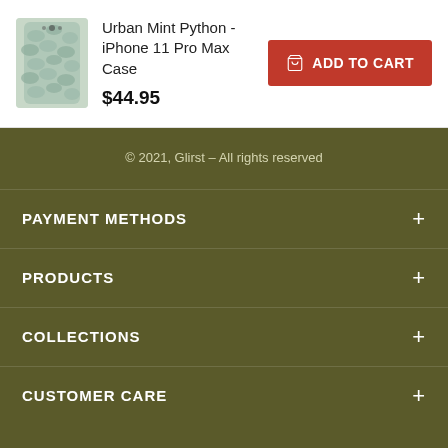[Figure (photo): Product image of Urban Mint Python iPhone 11 Pro Max Case - snake skin pattern phone case in mint/grey tones]
Urban Mint Python - iPhone 11 Pro Max Case
$44.95
ADD TO CART
© 2021, Glirst – All rights reserved
PAYMENT METHODS
PRODUCTS
COLLECTIONS
CUSTOMER CARE